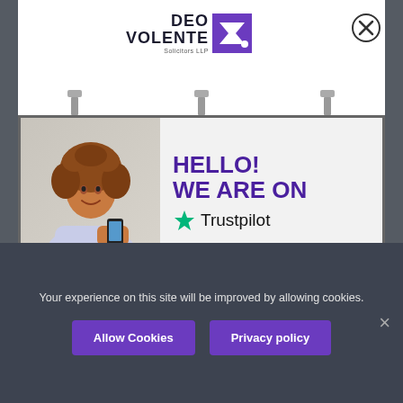[Figure (logo): Deo Volente Solicitors LLP logo with purple D and V chevron icon]
[Figure (screenshot): Billboard advertisement showing a smiling woman with curly hair holding a phone, with text HELLO! WE ARE ON Trustpilot]
Your experience on this site will be improved by allowing cookies.
Allow Cookies
Privacy policy